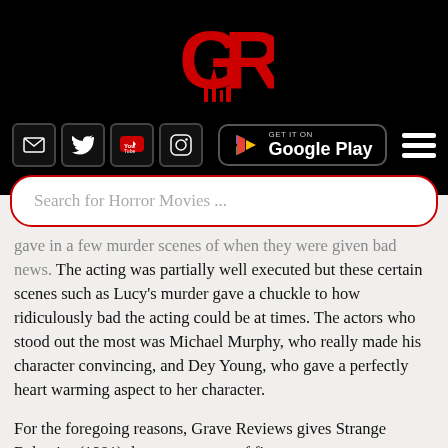[Figure (logo): Grave Reviews horror website logo - red GR letters with gothic imagery on black background]
[Figure (infographic): Navigation bar with social media icons (email, Twitter, YouTube, Instagram), Google Play download button, and hamburger menu on black background]
[Figure (screenshot): Search bar with placeholder text 'Search for Horror Movies ...' with red border on white background]
gave in a few murder scenes of when they were given bad news. The acting was partially well executed but these certain scenes such as Lucy's murder gave a chuckle to how ridiculously bad the acting could be at times. The actors who stood out the most was Michael Murphy, who really made his character convincing, and Dey Young, who gave a perfectly heart warming aspect to her character.
For the foregoing reasons, Grave Reviews gives Strange Behavior (1981) three graves out of five graves.